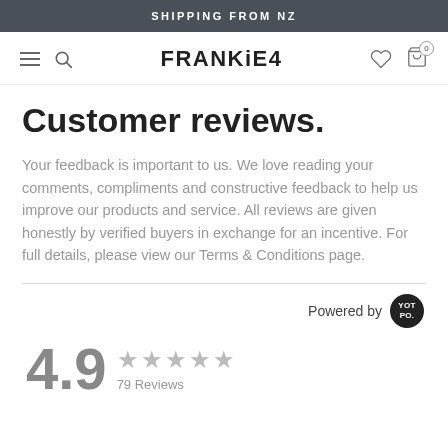SHIPPING FROM NZ
[Figure (logo): FRANKiE4 brand logo with navigation icons (hamburger menu, search, heart, shopping bag)]
Customer reviews.
Your feedback is important to us. We love reading your comments, compliments and constructive feedback to help us improve our products and service. All reviews are given honestly by verified buyers in exchange for an incentive. For full details, please view our Terms & Conditions page.
Powered by YOTPO
4.9 ★★★★★ 79 Reviews